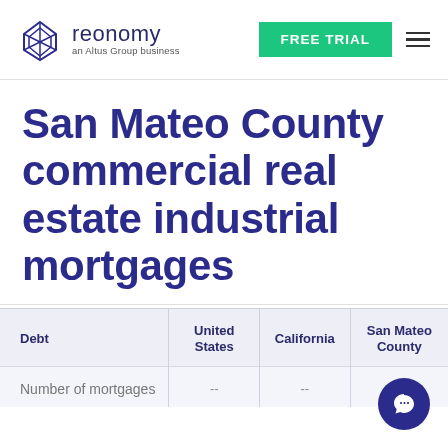reonomy an Altus Group business | FREE TRIAL
San Mateo County commercial real estate industrial mortgages
| Debt | United States | California | San Mateo County |
| --- | --- | --- | --- |
| Number of mortgages | -- | -- | -- |
[Figure (other): Chat support button icon]